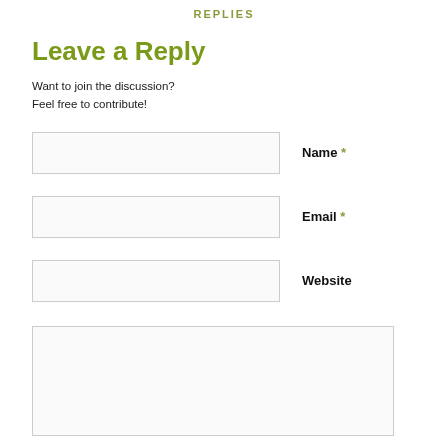REPLIES
Leave a Reply
Want to join the discussion?
Feel free to contribute!
Name *
Email *
Website